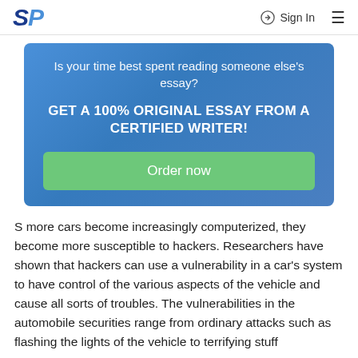SP | Sign In
Is your time best spent reading someone else's essay?
GET A 100% ORIGINAL ESSAY FROM A CERTIFIED WRITER!
Order now
S more cars become increasingly computerized, they become more susceptible to hackers. Researchers have shown that hackers can use a vulnerability in a car's system to have control of the various aspects of the vehicle and cause all sorts of troubles. The vulnerabilities in the automobile securities range from ordinary attacks such as flashing the lights of the vehicle to terrifying stuff